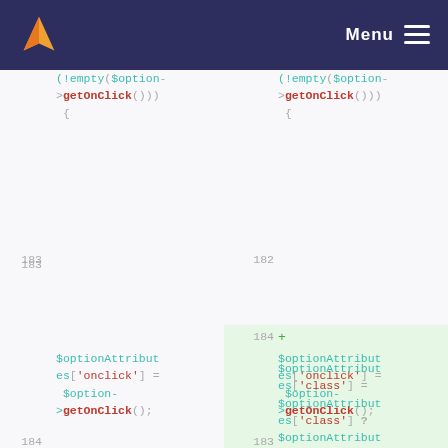Menu
[Figure (screenshot): Code diff view showing PHP code with two panels (old/new). Left panel shows lines 183-184, right panel shows lines 182-184. Both panels contain code for $optionAttributes['onclick'] = $option->getOnClick(); The right panel has an added line (184+) for $optionAttributes['class'] = $optionAttributes['class'] ? $optionAttributes['class'] .]